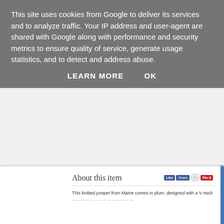This site uses cookies from Google to deliver its services and to analyze traffic. Your IP address and user-agent are shared with Google along with performance and security metrics to ensure quality of service, generate usage statistics, and to detect and address abuse.
LEARN MORE   OK
[Figure (screenshot): Screenshot of a product page showing 'About this item' heading with social sharing buttons (Facebook Like, Share, Twitter, Pinterest) and partial text 'This knitted jumper from Maine comes in plum, designed with a V neck']
In previous years you haven't quite got them the jumper they've wan
[Figure (photo): Photo of Christmas decorations including a red gift box with gold ribbon, frosted pine branches, white berries, and red ornaments]